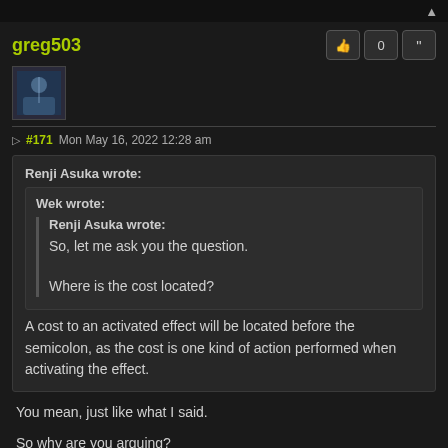greg503
#171 Mon May 16, 2022 12:28 am
Renji Asuka wrote:
Wek wrote:
Renji Asuka wrote:
So, let me ask you the question.
Where is the cost located?
A cost to an activated effect will be located before the semicolon, as the cost is one kind of action performed when activating the effect.
You mean, just like what I said.
So why are you arguing?